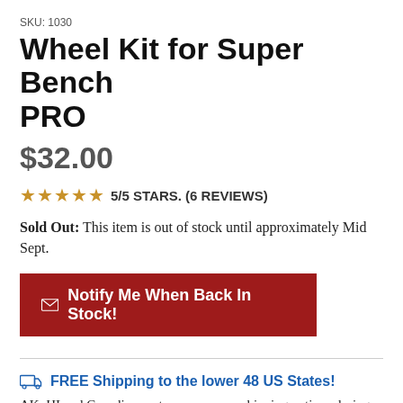SKU: 1030
Wheel Kit for Super Bench PRO
$32.00
★★★★★ 5/5 STARS. (6 REVIEWS)
Sold Out: This item is out of stock until approximately Mid Sept.
✉ Notify Me When Back In Stock!
🚚 FREE Shipping to the lower 48 US States!
AK, HI and Canadian customers can see shipping options during checkout. For other International locations, please contact us and we can give you a shipping quote.